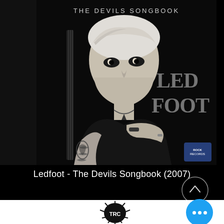[Figure (photo): Black and white album cover for 'The Devils Songbook' by Ledfoot (2007). Shows a pale man with white/blonde hair holding an electric guitar, with tattoos visible on his arm. The text 'THE DEVILS SONGBOOK' appears at the top and 'LED FOOT' in large stylized letters on the right side. A small record label logo appears in the bottom right corner.]
Ledfoot - The Devils Songbook (2007)
[Figure (logo): TRC logo in black ink splatter style, partially visible at the bottom of the page]